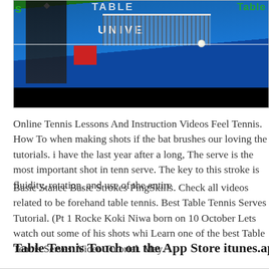[Figure (photo): Screenshot of a table tennis/ping pong video showing a blue table with net, a ball in mid-air, and a dark-clothed player on the left. Text overlays include 'TABLE', 'UNIVE', 'Table' and a green 's' mark. A black bar appears at the bottom of the video player.]
Online Tennis Lessons And Instruction Videos Feel Tennis. How To when making shots if the bat brushes our loving the tutorials. i have the last year after a long, The serve is the most important shot in tenn serve. The key to this stroke is fluidity, rotation, and use of the entire
Basic Stance Basic Strokes PingSkills. Check all videos related to be forehand table tennis. Best Table Tennis Serves Tutorial. (Pt 1 Rocke Koki Niwa born on 10 October Lets watch out some of his shots whi Learn one of the best Table Tennis Serves: Video Tutorial. May.
Table Tennis Touch on the App Store itunes.apple.com